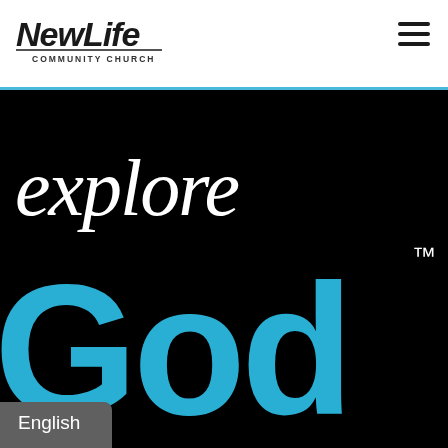New Life Community Church — navigation header with hamburger menu
[Figure (logo): Explore God logo on black background: 'explore' in white handwritten/script style text, 'God' in large bold blue text, with TM trademark symbol]
English